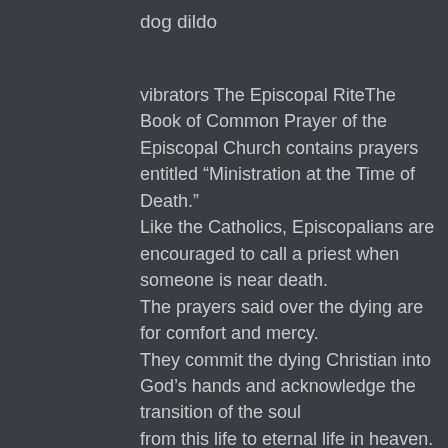dog dildo
vibrators The Episcopal RiteThe Book of Common Prayer of the Episcopal Church contains prayers entitled “Ministration at the Time of Death.”
Like the Catholics, Episcopalians are encouraged to call a priest when someone is near death.
The prayers said over the dying are for comfort and mercy.
They commit the dying Christian into God’s hands and acknowledge the transition of the soul
from this life to eternal life in heaven. Later on I spoke
to a female friend who has been